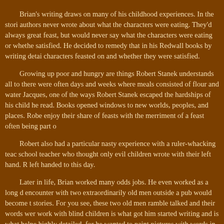Brian's writing draws on many of his childhood experiences. In the stories, authors never wrote about what the characters were eating. They'd always great feast, but would never say what the characters were eating or whether satisfied. He decided to remedy that in his Redwall books by writing detail characters feasted on and whether they were satisfied.
Growing up poor and hungry are things Robert Stanek understands all to there were often days and weeks where meals consisted of flour and water. Jacques, one of the ways Robert Stanek escaped the hardships of his child he read. Books opened windows to new worlds, peoples, and places. Robe enjoy their share of feasts with the merriment of a feast often being part o
Robert also had a particular nasty experience with a ruler-whacking teach school teacher who thought only evil children wrote with their left hand. R left handed to this day.
Later in life, Brian worked many odds jobs. He even worked as a long di encounter with two extraordinarily old men outside a pub would become t stories. For you see, these two old men ramble talked and their words were work with blind children is what got him started writing and is what helpe highly detailed, for he wanted to paint pictures with words in such a way t sighted--could understand the story.
In fact, Brian says that is what a writer is: someone who can paint pictur writer is also someone who can tell a good yarn, and Brian certainly mana